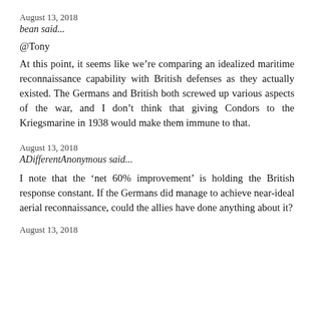August 13, 2018
bean said...
@Tony
At this point, it seems like we’re comparing an idealized maritime reconnaissance capability with British defenses as they actually existed. The Germans and British both screwed up various aspects of the war, and I don’t think that giving Condors to the Kriegsmarine in 1938 would make them immune to that.
August 13, 2018
ADifferentAnonymous said...
I note that the ‘net 60% improvement’ is holding the British response constant. If the Germans did manage to achieve near-ideal aerial reconnaissance, could the allies have done anything about it?
August 13, 2018